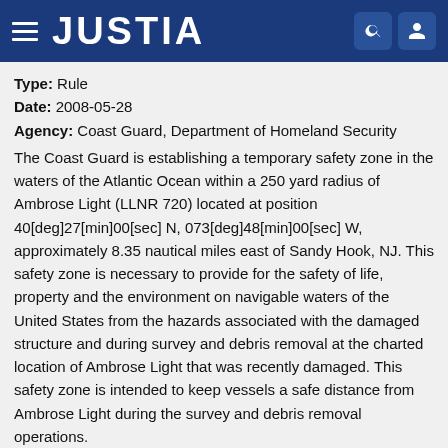JUSTIA
Type: Rule
Date: 2008-05-28
Agency: Coast Guard, Department of Homeland Security
The Coast Guard is establishing a temporary safety zone in the waters of the Atlantic Ocean within a 250 yard radius of Ambrose Light (LLNR 720) located at position 40[deg]27[min]00[sec] N, 073[deg]48[min]00[sec] W, approximately 8.35 nautical miles east of Sandy Hook, NJ. This safety zone is necessary to provide for the safety of life, property and the environment on navigable waters of the United States from the hazards associated with the damaged structure and during survey and debris removal at the charted location of Ambrose Light that was recently damaged. This safety zone is intended to keep vessels a safe distance from Ambrose Light during the survey and debris removal operations.